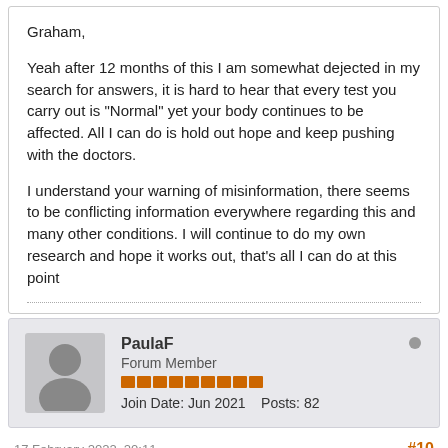Graham,

Yeah after 12 months of this I am somewhat dejected in my search for answers, it is hard to hear that every test you carry out is "Normal" yet your body continues to be affected. All I can do is hold out hope and keep pushing with the doctors.

I understand your warning of misinformation, there seems to be conflicting information everywhere regarding this and many other conditions. I will continue to do my own research and hope it works out, that's all I can do at this point
PaulaF
Forum Member
Join Date: Jun 2021    Posts: 82
17 February 2022, 20:11   #10